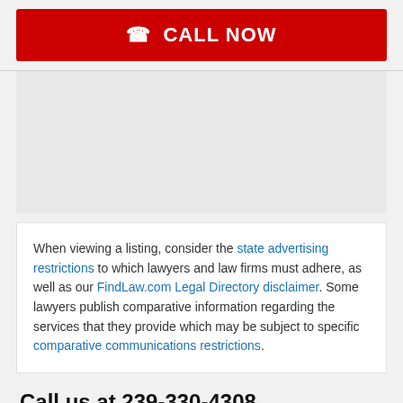CALL NOW
When viewing a listing, consider the state advertising restrictions to which lawyers and law firms must adhere, as well as our FindLaw.com Legal Directory disclaimer. Some lawyers publish comparative information regarding the services that they provide which may be subject to specific comparative communications restrictions.
Call us at 239-330-4308
Fields marked with an * are required